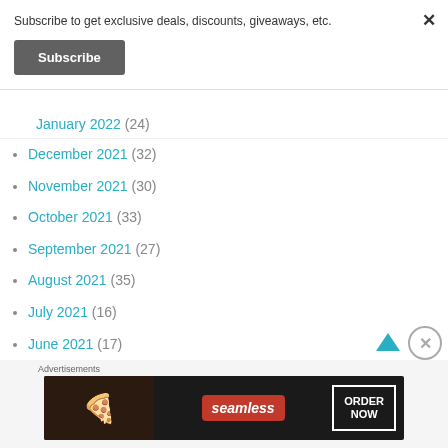Subscribe to get exclusive deals, discounts, giveaways, etc.
Subscribe
January 2022 (24)
December 2021 (32)
November 2021 (30)
October 2021 (33)
September 2021 (27)
August 2021 (35)
July 2021 (16)
June 2021 (17)
Advertisements
[Figure (screenshot): Seamless food delivery advertisement banner with pizza image, seamless logo in red, and ORDER NOW button]